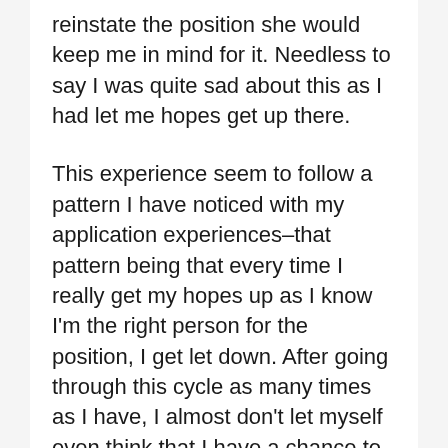reinstate the position she would keep me in mind for it. Needless to say I was quite sad about this as I had let me hopes get up there.
This experience seem to follow a pattern I have noticed with my application experiences–that pattern being that every time I really get my hopes up as I know I'm the right person for the position, I get let down. After going through this cycle as many times as I have, I almost don't let myself even think that I have a chance to get a certain position anymore. I know I'm making it harder on myself as thinking that I do it because I want to allow being